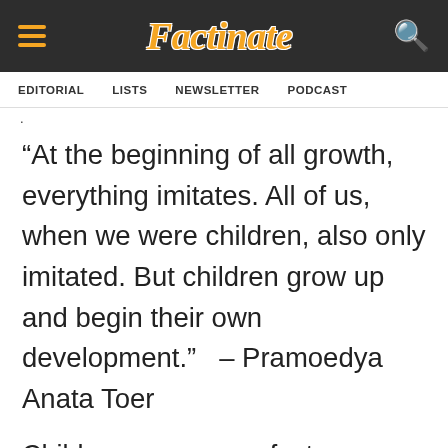Factinate
EDITORIAL   LISTS   NEWSLETTER   PODCAST
·
“At the beginning of all growth, everything imitates. All of us, when we were children, also only imitated. But children grow up and begin their own development.”  – Pramoedya Anata Toer
Children grow up so fast, milestones seem fly past in the blink of an eye. Although kids do...